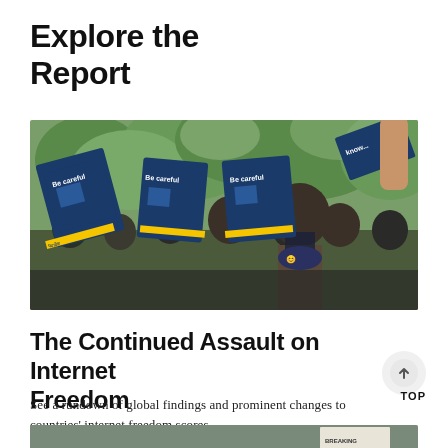Explore the Report
[Figure (photo): Protesters holding signs reading 'Be careful' with ATM fraud awareness messaging in Hindi, marching outdoors with trees in background. One protester wears a mask with a smiley face emoji.]
The Continued Assault on Internet Freedom
See a rundown of global findings and prominent changes to countries' internet freedom scores.
[Figure (photo): Partial view of bottom photo cropped at page edge.]